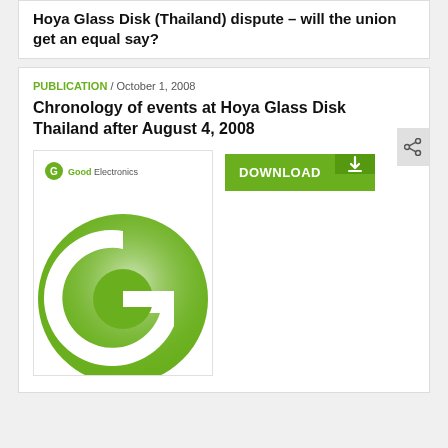Hoya Glass Disk (Thailand) dispute – will the union get an equal say?
PUBLICATION / October 1, 2008
Chronology of events at Hoya Glass Disk Thailand after August 4, 2008
[Figure (logo): GoodElectronics logo on publication thumbnail cover showing large green circle with G letter mark]
DOWNLOAD